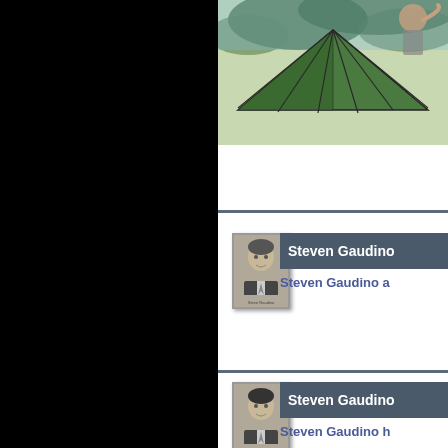[Figure (photo): Outdoor photo showing a green patio umbrella from below, with trees and sky visible, cropped in upper right portion of page]
[Figure (photo): Profile card with black and white headshot photo of Steven Gaudino with name banner]
Steven Gaudino
Steven Gaudino a
[Figure (photo): Second profile card with black and white headshot photo of Steven Gaudino with name banner]
Steven Gaudino
Steven Gaudino h